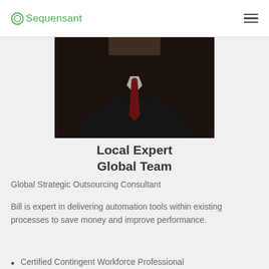Sequensant
[Figure (photo): Professional headshot of a man in a dark suit with a red tie, cropped to show shoulders and chest area.]
Local Expert
Global Team
Global Strategic Outsourcing Consultant
Bill is expert in delivering automation tools within existing processes to save money and improve performance.
Certified Contingent Workforce Professional